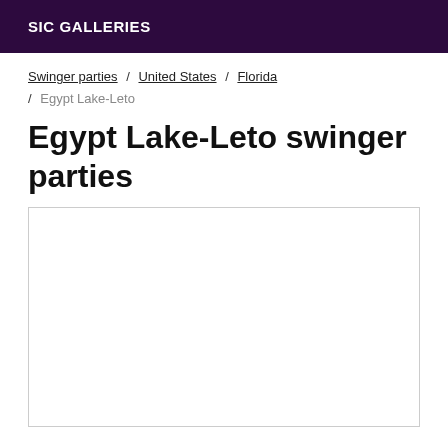SIC GALLERIES
Swinger parties / United States / Florida / Egypt Lake-Leto
Egypt Lake-Leto swinger parties
[Figure (other): Empty white content box with light gray border]